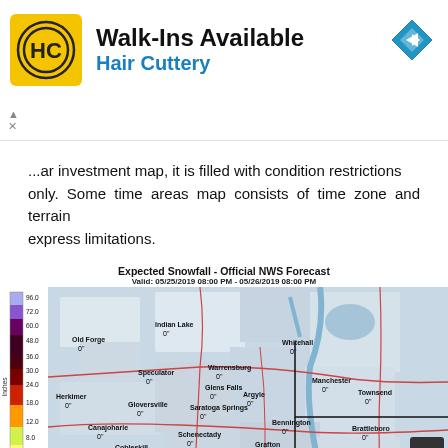[Figure (other): Hair Cuttery advertisement banner with yellow logo, Walk-Ins Available text, and navigation arrow icon]
...ar investment map, it is filled with condition restrictions only. Some time areas map consists of time zone and terrain express limitations.
[Figure (map): Expected Snowfall - Official NWS Forecast map. Valid: 05/25/2019 08:00 PM - 05/26/2019 08:00 PM. Shows snowfall forecast map of northeastern US with legend showing 6.0 to 96.0 inches. All labeled locations show 0 inches of snow: Old Forge, Indian Lake, Whitehall, Speculator, Warrensburg, Glens Falls, Argyle, Manchester, Herkimer, Gloversville, Saratoga Springs, Townsend, Canajoharie, Bennington, Schenectady, Brattleboro, Cobleskill, Albany, Grafton, Westerlo, Pittsfield.]